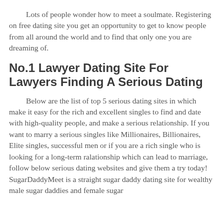Lots of people wonder how to meet a soulmate. Registering on free dating site you get an opportunity to get to know people from all around the world and to find that only one you are dreaming of.
No.1 Lawyer Dating Site For Lawyers Finding A Serious Dating
Below are the list of top 5 serious dating sites in which make it easy for the rich and excellent singles to find and date with high-quality people, and make a serious relationship. If you want to marry a serious singles like Millionaires, Billionaires, Elite singles, successful men or if you are a rich single who is looking for a long-term ralationship which can lead to marriage, follow below serious dating websites and give them a try today! SugarDaddyMeet is a straight sugar daddy dating site for wealthy male sugar daddies and female sugar